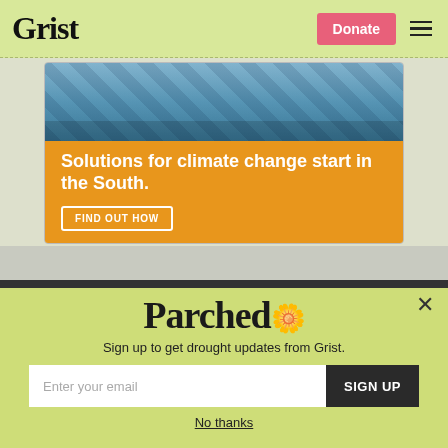Grist
[Figure (infographic): Advertisement banner with photo of solar panel workers and orange background. Headline: Solutions for climate change start in the South. Button: FIND OUT HOW]
Solutions for climate change start in the South.
FIND OUT HOW
Parched
Sign up to get drought updates from Grist.
Enter your email
SIGN UP
No thanks